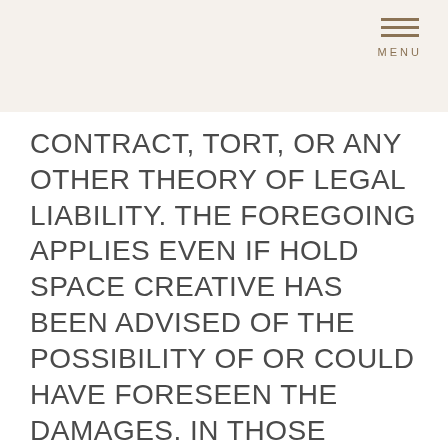MENU
CONTRACT, TORT, OR ANY OTHER THEORY OF LEGAL LIABILITY. THE FOREGOING APPLIES EVEN IF HOLD SPACE CREATIVE HAS BEEN ADVISED OF THE POSSIBILITY OF OR COULD HAVE FORESEEN THE DAMAGES. IN THOSE STATES THAT DO NOT ALLOW THE EXCLUSION OR LIMITATION OF LIABILITY FOR THE DAMAGES, OUR LIABILITY IS